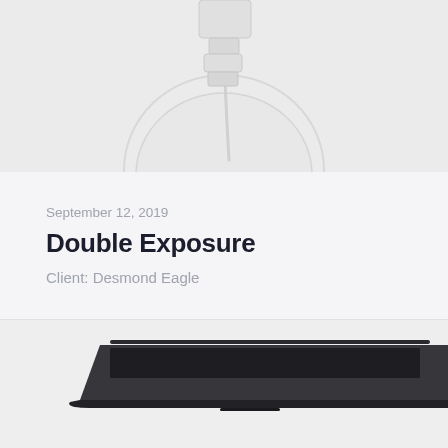[Figure (photo): Product photo showing a white Apple-style charging cable and circular charger on a light gray background, cropped with the device partially visible at top.]
September 12, 2019
Double Exposure
Client: Desmond Eagle
[Figure (photo): Product photo showing a dark/black laptop (partially visible) on a light gray background, cropped at the bottom of the page.]